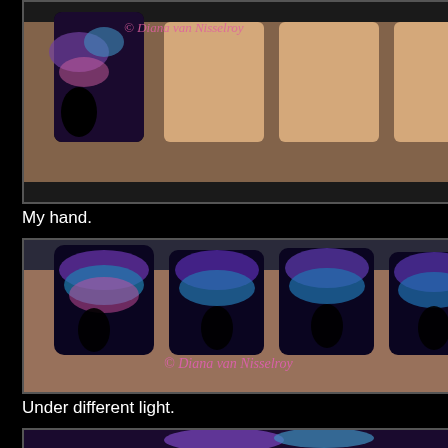[Figure (photo): Close-up of a hand with nail art featuring dark/black background, silhouettes, and galaxy/fireworks designs with purple, blue and pink colors. Watermark: © Diana van Nisselroy]
My hand.
[Figure (photo): Fist showing nails with elaborate nail art: dark night sky with fireworks, palm tree silhouettes, couple silhouette, purple and teal galaxy colors. Watermark: © Diana van Nisselroy]
Under different light.
[Figure (photo): Partial view of nail art showing galaxy/night sky design with purple and teal colors, partially cropped at bottom of page.]